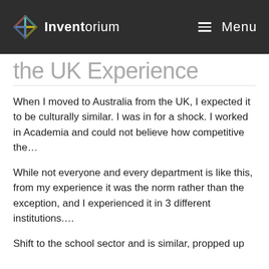Inventorium  Menu
the UK Experience
When I moved to Australia from the UK, I expected it to be culturally similar.  I was in for a shock.  I worked in Academia and could not believe how competitive the…
While not everyone and every department is like this, from my experience it was the norm rather than the exception, and I experienced it in 3 different institutions….
Shift to the school sector and is similar, propped up